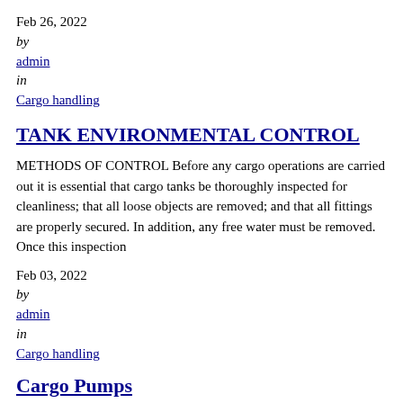Feb 26, 2022
by
admin
in
Cargo handling
TANK ENVIRONMENTAL CONTROL
METHODS OF CONTROL Before any cargo operations are carried out it is essential that cargo tanks be thoroughly inspected for cleanliness; that all loose objects are removed; and that all fittings are properly secured. In addition, any free water must be removed. Once this inspection
Feb 03, 2022
by
admin
in
Cargo handling
Cargo Pumps
A cargo pump is a machine used to propel the liquid cargo from the